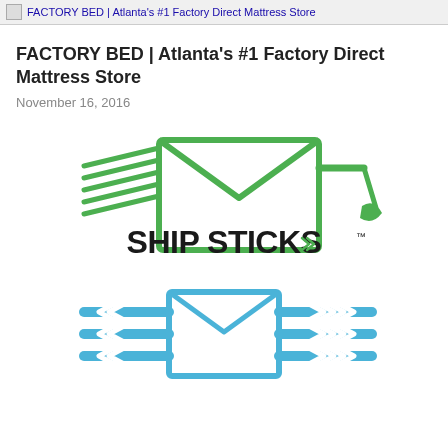FACTORY BED | Atlanta's #1 Factory Direct Mattress Store
FACTORY BED | Atlanta's #1 Factory Direct Mattress Store
November 16, 2016
[Figure (logo): Ship Sticks logo — envelope with speed lines on left and a golf club on right, bold text 'SHIP STICKS' with double chevron arrows in green]
[Figure (logo): Ship Skis logo — envelope with arrow speed lines on left and right in blue, text 'SHIP SKIS' with snowflake icon in blue, partially visible]